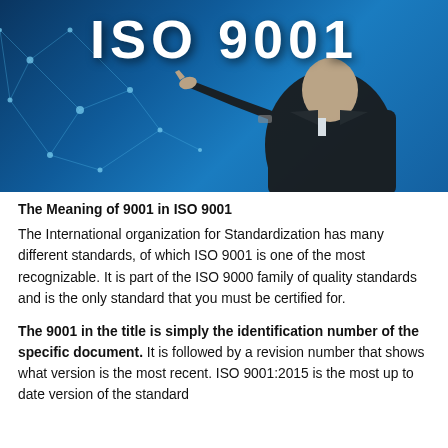[Figure (photo): A person in a dark suit reaching out with their finger toward the text 'ISO 9001' displayed in bold white letters, set against a blue digital network background with connected dots and lines.]
The Meaning of 9001 in ISO 9001
The International organization for Standardization has many different standards, of which ISO 9001 is one of the most recognizable. It is part of the ISO 9000 family of quality standards and is the only standard that you must be certified for.
The 9001 in the title is simply the identification number of the specific document. It is followed by a revision number that shows what version is the most recent. ISO 9001:2015 is the most up to date version of the standard